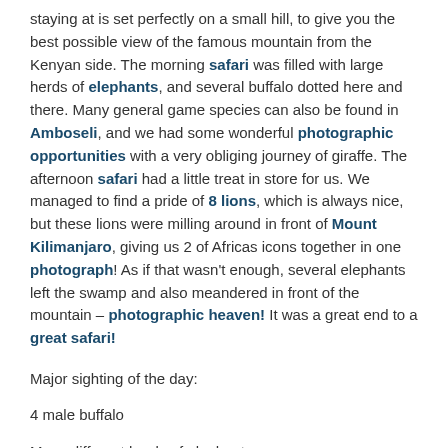staying at is set perfectly on a small hill, to give you the best possible view of the famous mountain from the Kenyan side. The morning safari was filled with large herds of elephants, and several buffalo dotted here and there. Many general game species can also be found in Amboseli, and we had some wonderful photographic opportunities with a very obliging journey of giraffe. The afternoon safari had a little treat in store for us. We managed to find a pride of 8 lions, which is always nice, but these lions were milling around in front of Mount Kilimanjaro, giving us 2 of Africas icons together in one photograph! As if that wasn't enough, several elephants left the swamp and also meandered in front of the mountain – photographic heaven! It was a great end to a great safari!
Major sighting of the day:
4 male buffalo
Many different herds of elephants